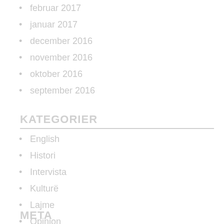februar 2017
januar 2017
december 2016
november 2016
oktober 2016
september 2016
KATEGORIER
English
Histori
Intervista
Kulturë
Lajme
Opinion
Shëndetësi
Të ndryshme
META